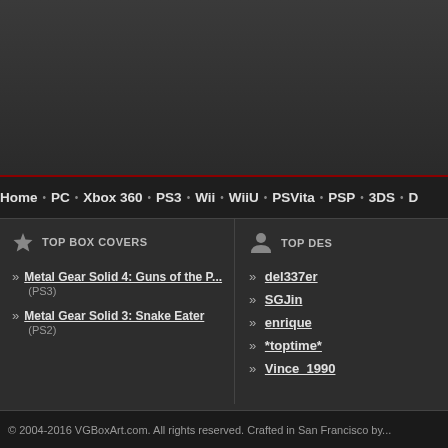[Figure (other): Dark banner header area with gradient background]
Home · PC · Xbox 360 · PS3 · Wii · WiiU · PSVita · PSP · 3DS · D...
TOP BOX COVERS
» Metal Gear Solid 4: Guns of the P... (PS3)
» Metal Gear Solid 3: Snake Eater (PS2)
TOP DES...
» del337er
» SGJin
» enrique
» *toptime*
» Vince_1990
© 2004-2016 VGBoxArt.com. All rights reserved. Crafted in San Francisco by...